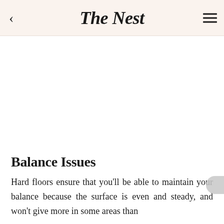The Nest
Balance Issues
Hard floors ensure that you'll be able to maintain your balance because the surface is even and steady, and won't give more in some areas than